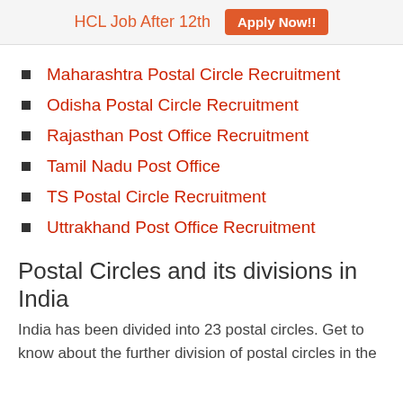HCL Job After 12th  Apply Now!!
Maharashtra Postal Circle Recruitment
Odisha Postal Circle Recruitment
Rajasthan Post Office Recruitment
Tamil Nadu Post Office
TS Postal Circle Recruitment
Uttrakhand Post Office Recruitment
Postal Circles and its divisions in India
India has been divided into 23 postal circles. Get to know about the further division of postal circles in the